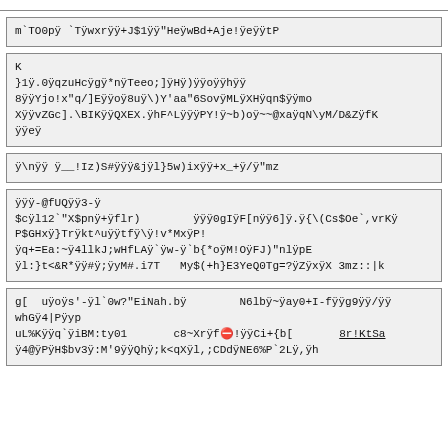m`TO0pÿ `Tÿwxrÿÿ+J$1ÿÿ"HeÿwBd+Aje!ÿeÿÿtP
K
}1ÿ.0ÿqzuHcÿgÿ*nÿTeeo;]ÿHÿ)ÿÿoÿÿhÿÿ
8ÿÿYjo!x"q/]Eÿÿoÿ8uÿ\)Y'aa"6SovÿMLÿXHÿqn$ÿÿmo
XÿÿvZGc].\BIKÿÿQXEX.ÿhF^LÿÿÿPY!ÿ~b)oÿ~~@xaÿqN\yM/D&ZÿfK
ÿÿeÿ
ÿ\nÿÿÿ__!Iz)S#ÿÿÿ&jÿl}5w)ixÿÿ+x_+ÿ/ÿ"mz
ÿÿÿ-@fUQÿÿ3-ÿ
$cÿl12`"X$pnÿ+ÿflr)        ÿÿÿ0gIÿF[nÿÿ6]ÿ.ÿ{\(Cs$Oe`,vrKÿ
P$GHxÿ}Trÿkt^uÿÿtfÿ\ÿ!v*MxÿP!
ÿq+=Ea:~ÿ4llkJ;wHfLAÿ`ÿw-ÿ`b{*oÿM!OÿFJ)"nlÿpE
ÿl:}t<&R*ÿÿ#ÿ;ÿyM#.i7T   My$(+h}E3YeQ0Tg=?ÿZÿxÿX 3mz::|k
g[  uÿoÿs'-ÿl`0w?"EiNah.bÿ        N6lbÿ~ÿay0+I-fÿÿg9ÿÿ/ÿÿ
whGÿ4|Pÿyp
uL%Kÿÿq`ÿiBM:ty01       c8~Xrÿfm!ÿÿCi+{b[       <u>8r!KtSa</u>
ÿ4@ÿPÿH$bv3ÿ:M'9ÿÿQhÿ;k<qXÿl,;CDdÿNE6%P`2Lÿ,ÿh